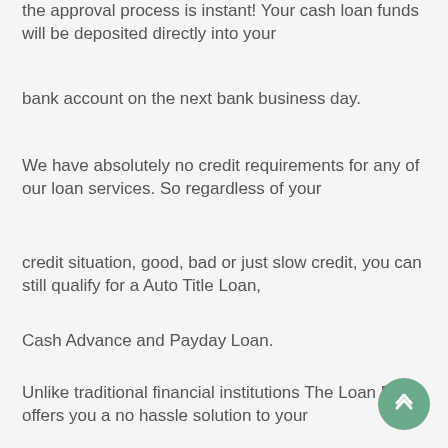the approval process is instant!  Your cash loan funds will be deposited directly into your
bank account on the next bank business day.
We have absolutely no credit requirements for any of our loan services.  So regardless of your
credit situation, good, bad or just slow credit, you can still qualify for a Auto Title Loan,
Cash Advance and Payday Loan.
Unlike traditional financial institutions The Loan Dep offers you a no hassle solution to your